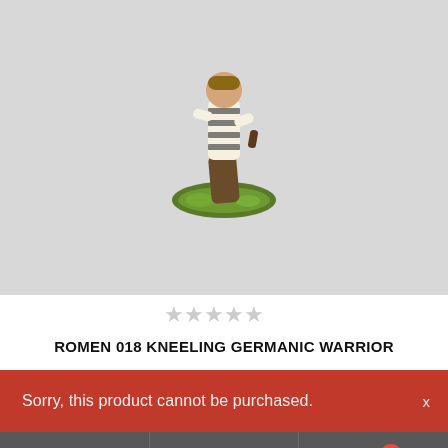[Figure (photo): A painted miniature figurine of a kneeling Germanic warrior in striped clothing on a green base, photographed against a light gray background.]
★★★★★ (empty stars rating)
ROMEN 018 KNEELING GERMANIC WARRIOR
$55.00
Sorry, this product cannot be purchased.